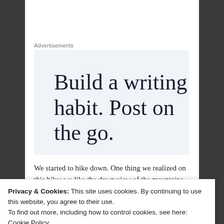Advertisements
[Figure (other): Advertisement banner: 'Build a writing habit. Post on the go.' with light blue-grey background, serif large font.]
We started to hike down. One thing we realized on this hike; we like the dawn view of the mountains. With that we decided that we would try to get a sunrise summit on our final full day in Colorado.
Privacy & Cookies: This site uses cookies. By continuing to use this website, you agree to their use.
To find out more, including how to control cookies, see here: Cookie Policy
Close and accept